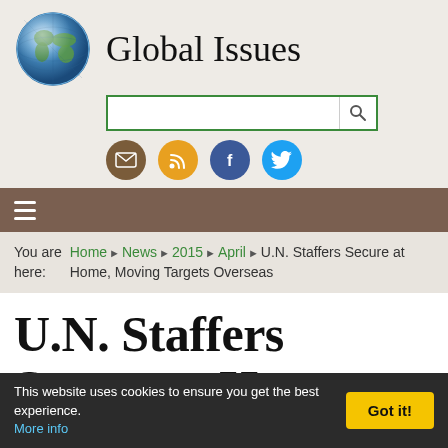Global Issues
[Figure (logo): Globe icon representing Global Issues website logo]
You are here: Home › News › 2015 › April › U.N. Staffers Secure at Home, Moving Targets Overseas
U.N. Staffers Secure at Home, Moving Targets Overseas
This website uses cookies to ensure you get the best experience. More info